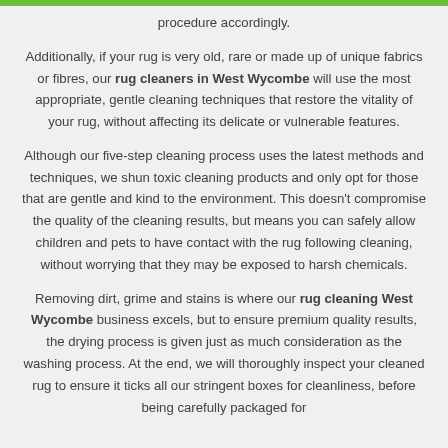procedure accordingly.
Additionally, if your rug is very old, rare or made up of unique fabrics or fibres, our rug cleaners in West Wycombe will use the most appropriate, gentle cleaning techniques that restore the vitality of your rug, without affecting its delicate or vulnerable features.
Although our five-step cleaning process uses the latest methods and techniques, we shun toxic cleaning products and only opt for those that are gentle and kind to the environment. This doesn't compromise the quality of the cleaning results, but means you can safely allow children and pets to have contact with the rug following cleaning, without worrying that they may be exposed to harsh chemicals.
Removing dirt, grime and stains is where our rug cleaning West Wycombe business excels, but to ensure premium quality results, the drying process is given just as much consideration as the washing process. At the end, we will thoroughly inspect your cleaned rug to ensure it ticks all our stringent boxes for cleanliness, before being carefully packaged for